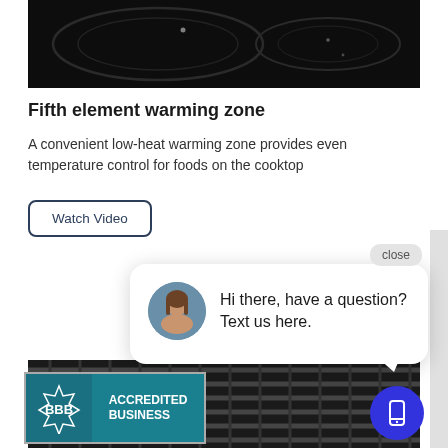[Figure (photo): Dark black electric cooktop with circular burner elements and subtle reflections]
Fifth element warming zone
A convenient low-heat warming zone provides even temperature control for foods on the cooktop
Watch Video
[Figure (screenshot): Chat popup with female avatar and text: Hi there, have a question? Text us here.]
[Figure (photo): Black metal cooking grates close-up on a cooktop]
[Figure (logo): BBB Accredited Business badge with teal background]
[Figure (other): Blue circular phone/mobile icon button]